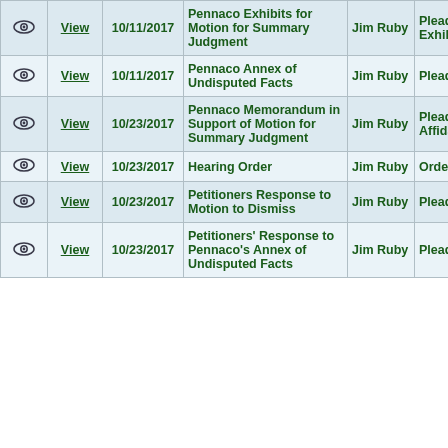|  | View | Date | Description | Name | Type |  |
| --- | --- | --- | --- | --- | --- | --- |
| [eye] | View | 10/11/2017 | Pennaco Exhibits for Motion for Summary Judgment | Jim Ruby | Pleading Exhibit | A |
| [eye] | View | 10/11/2017 | Pennaco Annex of Undisputed Facts | Jim Ruby | Pleading | A |
| [eye] | View | 10/23/2017 | Pennaco Memorandum in Support of Motion for Summary Judgment | Jim Ruby | Pleading Affidavit | A |
| [eye] | View | 10/23/2017 | Hearing Order | Jim Ruby | Order | A |
| [eye] | View | 10/23/2017 | Petitioners Response to Motion to Dismiss | Jim Ruby | Pleading | A |
| [eye] | View | 10/23/2017 | Petitioners' Response to Pennaco's Annex of Undisputed Facts | Jim Ruby | Pleading | A |